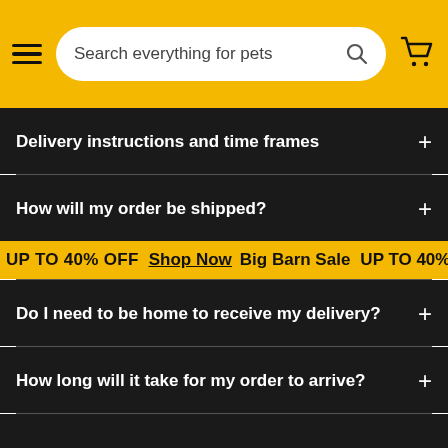Search everything for pets
Delivery instructions and time frames
How will my order be shipped?
UP TO 40% OFF  Shop Now  Big Barn Sale  UP TO 40% OFF  Sh
Do I need to be home to receive my delivery?
How long will it take for my order to arrive?
ADD TO CART